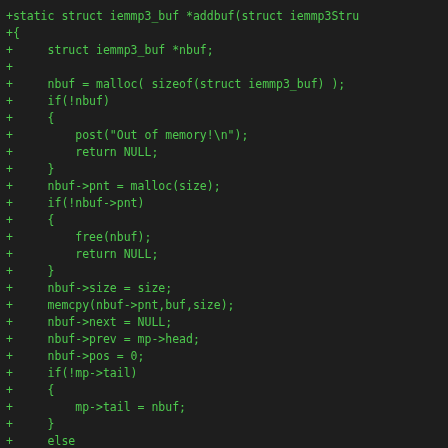+static struct iemmp3_buf *addbuf(struct iemmp3Stru
+{
+     struct iemmp3_buf *nbuf;
+
+     nbuf = malloc( sizeof(struct iemmp3_buf) );
+     if(!nbuf)
+     {
+         post("Out of memory!\n");
+         return NULL;
+     }
+     nbuf->pnt = malloc(size);
+     if(!nbuf->pnt)
+     {
+         free(nbuf);
+         return NULL;
+     }
+     nbuf->size = size;
+     memcpy(nbuf->pnt,buf,size);
+     nbuf->next = NULL;
+     nbuf->prev = mp->head;
+     nbuf->pos = 0;
+     if(!mp->tail)
+     {
+         mp->tail = nbuf;
+     }
+     else
+     {
+         mp->head->next = nbuf;
+     }
+     mp->head = nbuf;